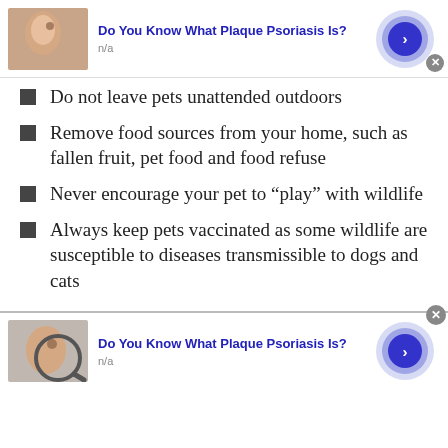[Figure (other): Advertisement banner at top: image of skin condition on left, 'Do You Know What Plaque Psoriasis Is?' title in blue, n/a subtitle, circular blue arrow button on right, close X button]
Do not leave pets unattended outdoors
Remove food sources from your home, such as fallen fruit, pet food and food refuse
Never encourage your pet to “play” with wildlife
Always keep pets vaccinated as some wildlife are susceptible to diseases transmissible to dogs and cats
[Figure (other): Advertisement banner at bottom: image of skin condition with magnifying glass on left, 'Do You Know What Plaque Psoriasis Is?' title in blue, n/a subtitle, circular blue arrow button on right, close X button]